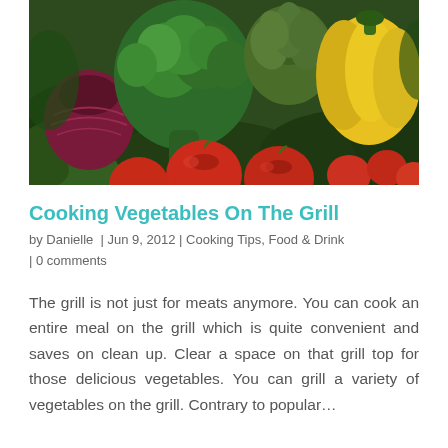[Figure (photo): Overhead photo of assorted fresh vegetables including broccoli, cauliflower, red tomatoes, a red onion, artichokes, yellow bell pepper, and leafy greens on a dark background.]
Cooking Vegetables On The Grill
by Danielle  |  Jun 9, 2012  |  Cooking Tips, Food & Drink  |  0 comments
The grill is not just for meats anymore. You can cook an entire meal on the grill which is quite convenient and saves on clean up. Clear a space on that grill top for those delicious vegetables. You can grill a variety of vegetables on the grill. Contrary to popular...